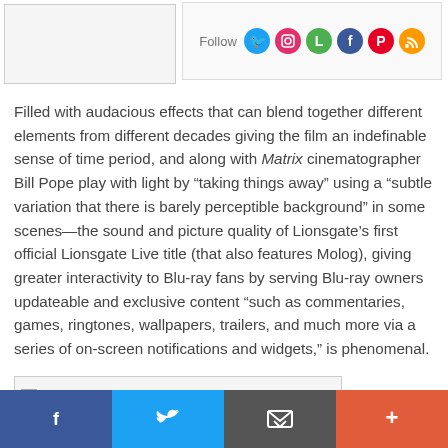[Figure (other): Top section with image placeholder on left and social follow bar on right with Twitter, Instagram, Letterboxd, Facebook, Pinterest, RSS icons]
Filled with audacious effects that can blend together different elements from different decades giving the film an indefinable sense of time period, and along with Matrix cinematographer Bill Pope play with light by “taking things away” using a “subtle variation that there is barely perceptible background” in some scenes—the sound and picture quality of Lionsgate’s first official Lionsgate Live title (that also features Molog), giving greater interactivity to Blu-ray fans by serving Blu-ray owners updateable and exclusive content “such as commentaries, games, ringtones, wallpapers, trailers, and much more via a series of on-screen notifications and widgets,” is phenomenal.
[Figure (other): Bottom image placeholder box with broken image icon]
Facebook | Twitter | Email | More share options